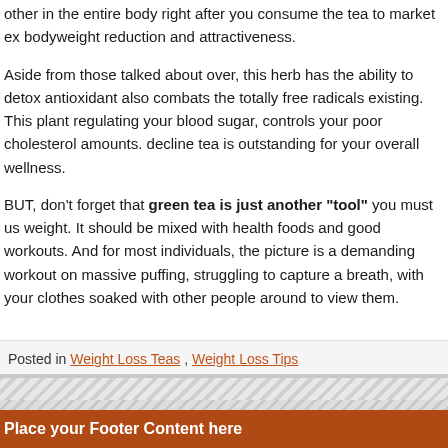other in the entire body right after you consume the tea to market ex bodyweight reduction and attractiveness.
Aside from those talked about over, this herb has the ability to detox antioxidant also combats the totally free radicals existing. This plant regulating your blood sugar, controls your poor cholesterol amounts. decline tea is outstanding for your overall wellness.
BUT, don't forget that green tea is just another "tool" you must us weight. It should be mixed with health foods and good workouts. And for most individuals, the picture is a demanding workout on massive puffing, struggling to capture a breath, with your clothes soaked with other people around to view them.
Posted in Weight Loss Teas , Weight Loss Tips
Place your Footer Content here